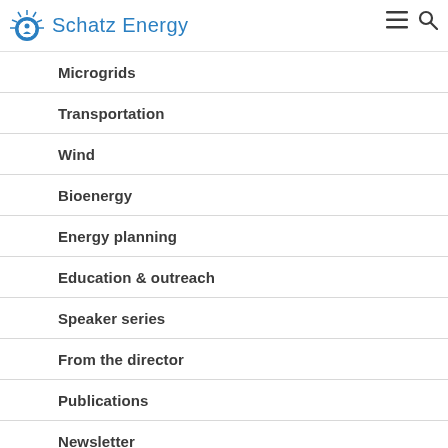Schatz Energy
Microgrids
Transportation
Wind
Bioenergy
Energy planning
Education & outreach
Speaker series
From the director
Publications
Newsletter